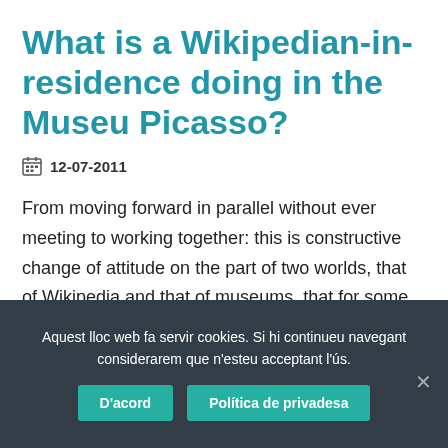What is a Wikipedian-in-residence doing in the Museu Picasso?
12-07-2011
From moving forward in parallel without ever meeting to working together: this is constructive change of attitude on the part of two worlds, that of Wikipedia and that of museums, that for some time now ...
Aquest lloc web fa servir cookies. Si hi continueu navegant considerarem que n'esteu acceptant l'ús.